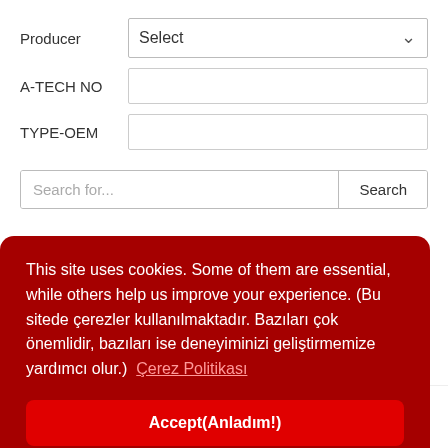Producer
Select
A-TECH NO
TYPE-OEM
Search for...
Search
This site uses cookies. Some of them are essential, while others help us improve your experience. (Bu sitede çerezler kullanılmaktadır. Bazıları çok önemlidir, bazıları ise deneyiminizi geliştirmemize yardımcı olur.)  Çerez Politikası
Accept(Anladım!)
Next
OEM NUMBER